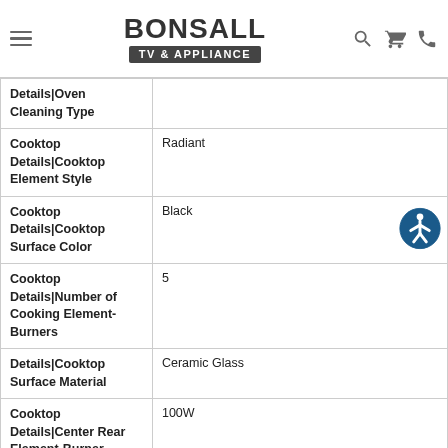Bonsall TV & Appliance
| Feature | Value |
| --- | --- |
| Details|Oven Cleaning Type |  |
| Cooktop Details|Cooktop Element Style | Radiant |
| Cooktop Details|Cooktop Surface Color | Black |
| Cooktop Details|Number of Cooking Element-Burners | 5 |
| Details|Cooktop Surface Material | Ceramic Glass |
| Cooktop Details|Center Rear Element-Burner | 100W |